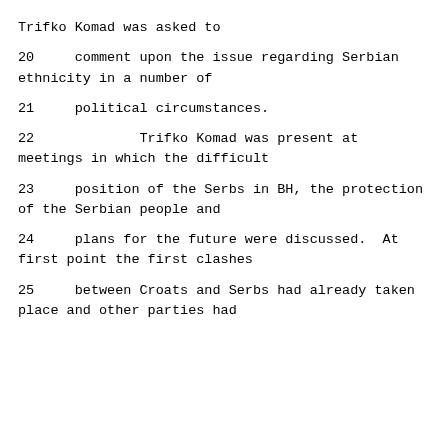Trifko Komad was asked to
20     comment upon the issue regarding Serbian ethnicity in a number of
21     political circumstances.
22            Trifko Komad was present at meetings in which the difficult
23     position of the Serbs in BH, the protection of the Serbian people and
24     plans for the future were discussed.  At first point the first clashes
25     between Croats and Serbs had already taken place and other parties had